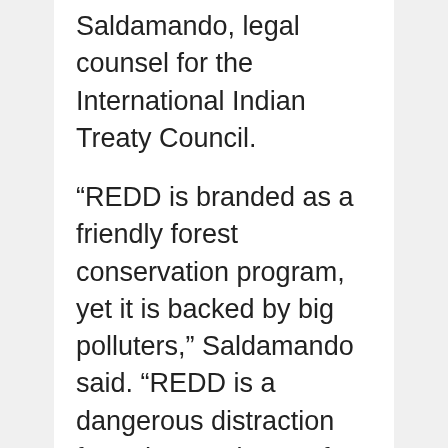Saldamando, legal counsel for the International Indian Treaty Council.
“REDD is branded as a friendly forest conservation program, yet it is backed by big polluters,” Saldamando said. “REDD is a dangerous distraction from the root issue of fossil fuel pollution, and could mean disaster for forest-dependent indigenous peoples the world over.”
“We are here from the far